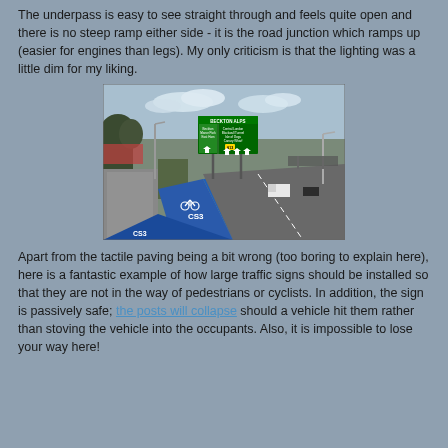The underpass is easy to see straight through and feels quite open and there is no steep ramp either side - it is the road junction which ramps up (easier for engines than legs). My only criticism is that the lighting was a little dim for my liking.
[Figure (photo): A photograph of a wide urban road with a blue cycle superhighway lane (CS3) painted on the road surface. A large green motorway-style direction sign is visible reading 'Beckton Alps' with directions to Central London, Blackwall Tunnel, Isle of Dogs, Canary Wharf and A13. The road has a paved footway on the left side. Vehicles including a white van are visible on the road.]
Apart from the tactile paving being a bit wrong (too boring to explain here), here is a fantastic example of how large traffic signs should be installed so that they are not in the way of pedestrians or cyclists. In addition, the sign is passively safe; the posts will collapse should a vehicle hit them rather than stoving the vehicle into the occupants. Also, it is impossible to lose your way here!